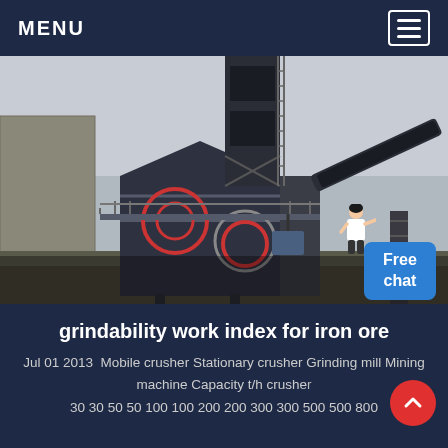MENU
[Figure (photo): Industrial mining crusher/grinding mill machine installation at a quarry or mining site. Large heavy steel machinery with conveyor belts, elevated platform with railings, and a tall control tower structure. Overcast sky in background.]
grindability work index for iron ore
Jul 01 2013  Mobile crusher Stationary crusher Grinding mill Mining machine Capacity t/h crusher 30 30 50 50 100 100 200 200 300 300 500 500 800